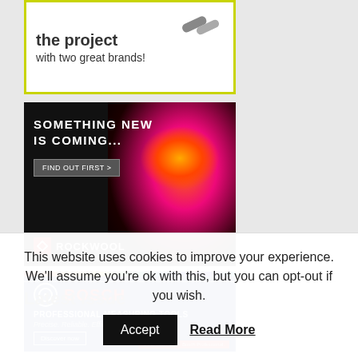[Figure (illustration): Advertisement: 'the project with two great brands!' with green-yellow border and tool icons]
[Figure (photo): Rockwool advertisement: 'SOMETHING NEW IS COMING...' with lava/volcanic background, 'FIND OUT FIRST >' button, and Rockwool logo]
[Figure (illustration): Bosch Professional Measuring Tools advertisement: blue background with rainbow stripe, Bosch logo in red, 'PROFESSIONAL MEASURING TOOLS', 'Precise. Reliable. Efficient.', 'Discover now' button]
Latest Issue
This website uses cookies to improve your experience. We'll assume you're ok with this, but you can opt-out if you wish.
Accept | Read More